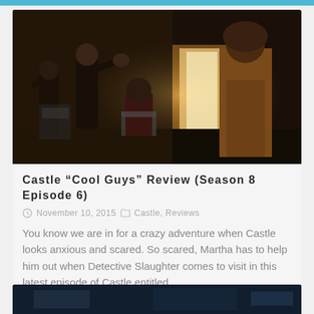[Figure (photo): Dark indoor scene with several people — two men standing on the left, one gesturing, a person seated in the middle, and a large figure in a brown coat on the right near a bright doorway.]
Castle “Cool Guys” Review (Season 8 Episode 6)
November 10, 2015   Castle, Reviews
You know we are in for a crazy adventure when Castle looks anxious and scared. So scared, Martha has to help him out when Detective Slaughter comes to visit in this latest episode of Castle entitled…
[Figure (photo): Partial view of a second article image at the bottom of the page.]